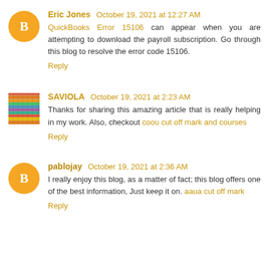Eric Jones  October 19, 2021 at 12:27 AM
QuickBooks Error 15106 can appear when you are attempting to download the payroll subscription. Go through this blog to resolve the error code 15106.
Reply
SAVIOLA  October 19, 2021 at 2:23 AM
Thanks for sharing this amazing article that is really helping in my work. Also, checkout coou cut off mark and courses
Reply
pablojay  October 19, 2021 at 2:36 AM
I really enjoy this blog, as a matter of fact; this blog offers one of the best information, Just keep it on. aaua cut off mark
Reply